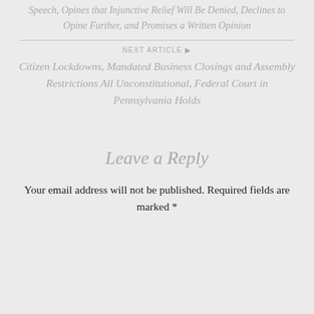Speech, Opines that Injunctive Relief Will Be Denied, Declines to Opine Further, and Promises a Written Opinion
NEXT ARTICLE ▶
Citizen Lockdowns, Mandated Business Closings and Assembly Restrictions All Unconstitutional, Federal Court in Pennsylvania Holds
Leave a Reply
Your email address will not be published. Required fields are marked *